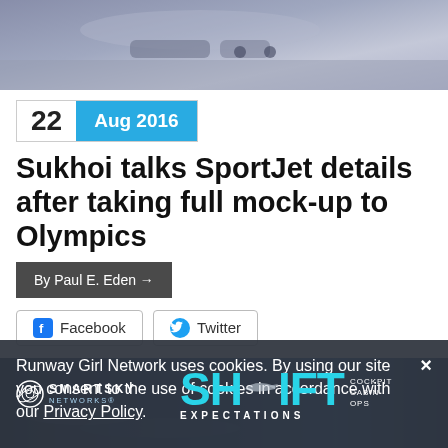[Figure (photo): Close-up of an aircraft interior surface, showing seat or panel details with blue-gray tones]
22   Aug 2016
Sukhoi talks SportJet details after taking full mock-up to Olympics
By Paul E. Eden →
Facebook   Twitter
[Figure (advertisement): SmartSky Networks advertisement — SHIFT EXPECTATIONS banner with cockpit, cabin, ops labels]
Runway Girl Network uses cookies. By using our site you consent to the use of cookies in accordance with our Privacy Policy.